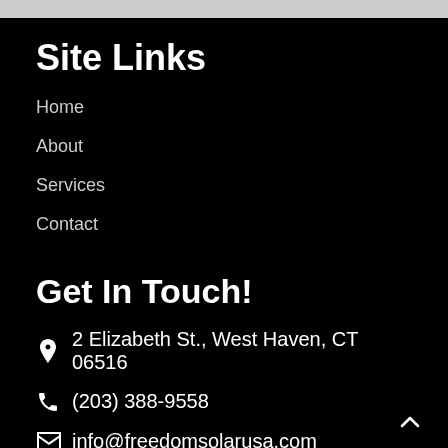Site Links
Home
About
Services
Contact
Get In Touch!
2 Elizabeth St., West Haven, CT 06516
(203) 388-9558
info@freedomsolarusa.com